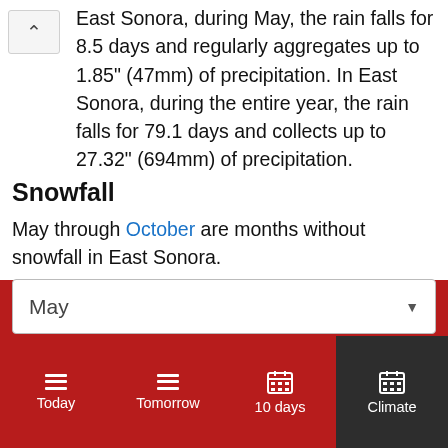East Sonora, during May, the rain falls for 8.5 days and regularly aggregates up to 1.85" (47mm) of precipitation. In East Sonora, during the entire year, the rain falls for 79.1 days and collects up to 27.32" (694mm) of precipitation.
Snowfall
May through October are months without snowfall in East Sonora.
Daylight
In East Sonora, the average length of the day in M...
May
Today | Tomorrow | 10 days | Climate